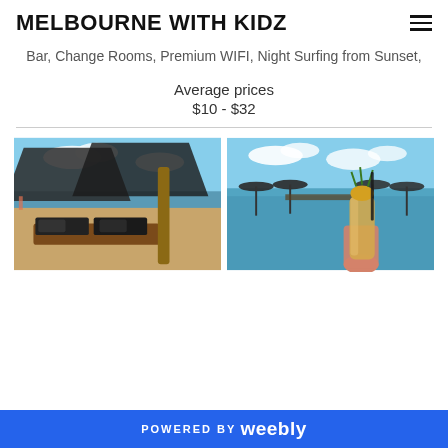MELBOURNE WITH KIDZ
Bar, Change Rooms, Premium WIFI, Night Surfing from Sunset,
Average prices
$10 - $32
[Figure (photo): Beach loungers with dark cushions under thatched umbrella, sandy beach background with water and cloudy sky]
[Figure (photo): Hand holding a tropical pineapple drink at an infinity pool with beach umbrellas and ocean in background]
POWERED BY weebly